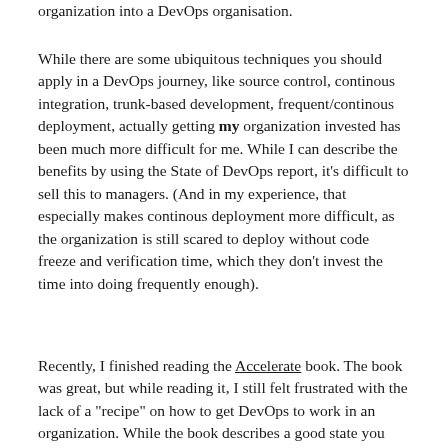organization into a DevOps organisation.
While there are some ubiquitous techniques you should apply in a DevOps journey, like source control, continous integration, trunk-based development, frequent/continous deployment, actually getting my organization invested has been much more difficult for me. While I can describe the benefits by using the State of DevOps report, it's difficult to sell this to managers. (And in my experience, that especially makes continous deployment more difficult, as the organization is still scared to deploy without code freeze and verification time, which they don't invest the time into doing frequently enough).
Recently, I finished reading the Accelerate book. The book was great, but while reading it, I still felt frustrated with the lack of a "recipe" on how to get DevOps to work in an organization. While the book describes a good state you